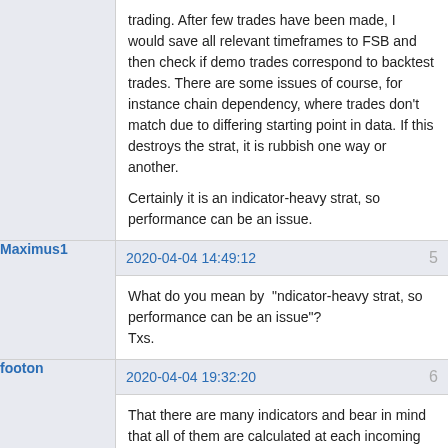trading. After few trades have been made, I would save all relevant timeframes to FSB and then check if demo trades correspond to backtest trades. There are some issues of course, for instance chain dependency, where trades don't match due to differing starting point in data. If this destroys the strat, it is rubbish one way or another.

Certainly it is an indicator-heavy strat, so performance can be an issue.
Maximus1
2020-04-04 14:49:12
5
What do you mean by  "ndicator-heavy strat, so performance can be an issue"?
Txs.
footon
2020-04-04 19:32:20
6
That there are many indicators and bear in mind that all of them are calculated at each incoming tick, so if your